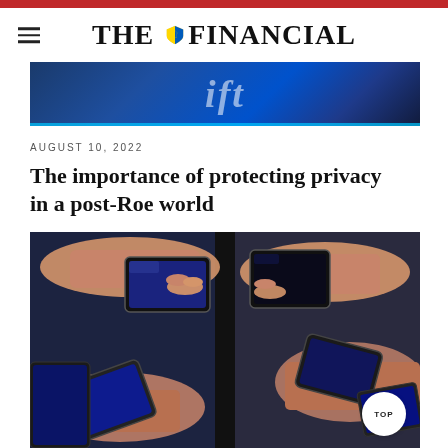THE FINANCIAL
[Figure (photo): Partial view of a blue background with partial white text visible, resembling a financial publication banner image]
AUGUST 10, 2022
The importance of protecting privacy in a post-Roe world
[Figure (photo): Multiple hands holding smartphones pointing toward each other against a dark background]